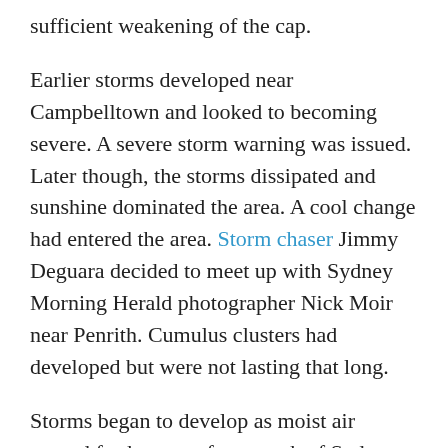sufficient weakening of the cap.
Earlier storms developed near Campbelltown and looked to becoming severe. A severe storm warning was issued. Later though, the storms dissipated and sunshine dominated the area. A cool change had entered the area. Storm chaser Jimmy Deguara decided to meet up with Sydney Morning Herald photographer Nick Moir near Penrith. Cumulus clusters had developed but were not lasting that long.
Storms began to develop as moist air moved further west from north of Sydney. Radar showed this development clearly. It was the storm near Colo Heights that grabbed the attention of the storm chasers. They gave chase and eventually got in front of the storm north east of Colo Heights.